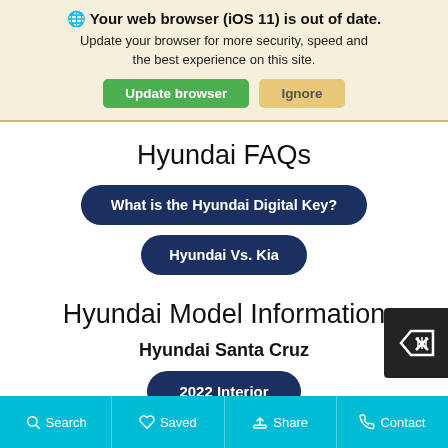🌐 Your web browser (iOS 11) is out of date. Update your browser for more security, speed and the best experience on this site.
Update browser | Ignore
Hyundai FAQs
What is the Hyundai Digital Key?
Hyundai Vs. Kia
Hyundai Model Information
Hyundai Santa Cruz
2022 Interior
Search | Saved | Share | Contact